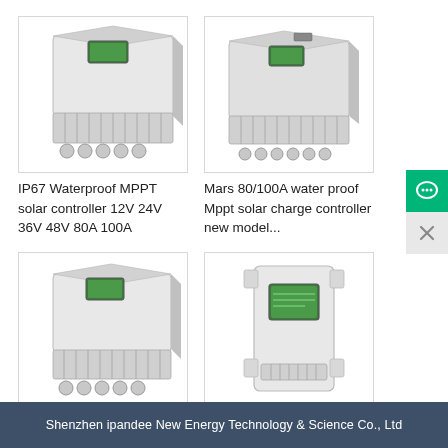[Figure (photo): IP67 Waterproof MPPT solar charge controller, white metal box with heat sink fins and LCD display, angled view]
IP67 Waterproof MPPT solar controller 12V 24V 36V 48V 80A 100A
[Figure (photo): Mars 80/100A waterproof MPPT solar charge controller, white metal enclosure with heat sink, angled view]
Mars 80/100A water proof Mppt solar charge controller new model...
[Figure (photo): IP67 80A outdoor waterproof MPPT solar controller, white metal box with heat sink and LCD, angled view]
IP67 80A 12V/24V/36V/48V Outdoor Waterproof...
[Figure (photo): I-Panda MARS solar charge controller 80A&100A, white wall-mount enclosure with LCD display, front view]
I-Panda MARS Solar Charge Controller 80A&100A 12V 24V 3...
Shenzhen ipandee New Energy Technology & Science Co., Ltd